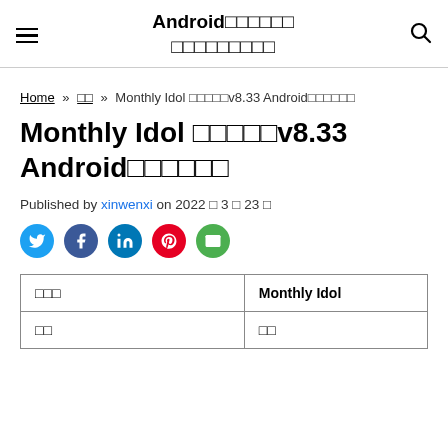Android□□□□□□ □□□□□□□□□
Home » □□ » Monthly Idol □□□□□v8.33 Android□□□□□□
Monthly Idol □□□□□v8.33 Android□□□□□□
Published by xinwenxi on 2022 □ 3 □ 23 □
[Figure (other): Social sharing icons: Twitter, Facebook, LinkedIn, Pinterest, Email]
| □□□ | Monthly Idol |
| □□ | □□ |